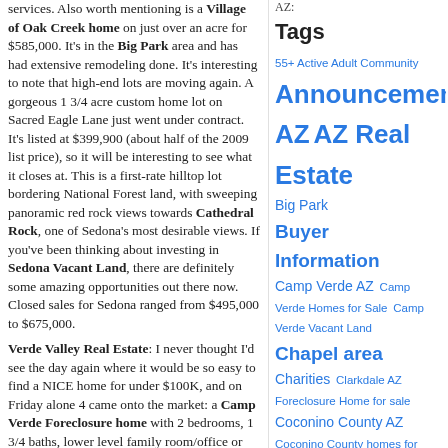services. Also worth mentioning is a Village of Oak Creek home on just over an acre for $585,000. It's in the Big Park area and has had extensive remodeling done. It's interesting to note that high-end lots are moving again. A gorgeous 1 3/4 acre custom home lot on Sacred Eagle Lane just went under contract. It's listed at $399,900 (about half of the 2009 list price), so it will be interesting to see what it closes at. This is a first-rate hilltop lot bordering National Forest land, with sweeping panoramic red rock views towards Cathedral Rock, one of Sedona's most desirable views. If you've been thinking about investing in Sedona Vacant Land, there are definitely some amazing opportunities out there now. Closed sales for Sedona ranged from $495,000 to $675,000.
Verde Valley Real Estate: I never thought I'd see the day again where it would be so easy to find a NICE home for under $100K, and on Friday alone 4 came onto the market: a Camp Verde Foreclosure home with 2 bedrooms, 1 3/4 baths, lower level family room/office or potential 3rd bedroom, large fenced back yard and detached workshop for just a little over $83,000; and 3 Cottonwood homes for sale in the high 90's, all
AZ:
Tags
55+ Active Adult Community Announcements AZ AZ Real Estate Big Park Buyer Information Camp Verde AZ Camp Verde Homes for Sale Camp Verde Vacant Land Chapel area Charities Clarkdale AZ Foreclosure Home for sale Coconino County AZ Coconino County homes for sale Community Info Cornville Cornville Az Cornville AZ